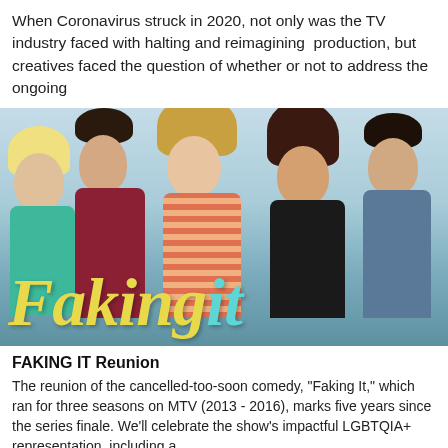When Coronavirus struck in 2020, not only was the TV industry faced with halting and reimagining  production, but creatives faced the question of whether or not to address the ongoing
[Figure (photo): Promotional image for the MTV show 'Faking It' showing five cast members standing against a light blue background. The show title 'Faking it' is displayed in large yellow italic serif font with 'it' in teal/cyan color overlaid on the lower portion of the image.]
FAKING IT Reunion
The reunion of the cancelled-too-soon comedy, "Faking It," which ran for three seasons on MTV (2013 - 2016), marks five years since the series finale. We'll celebrate the show's impactful LGBTQIA+ representation, including a